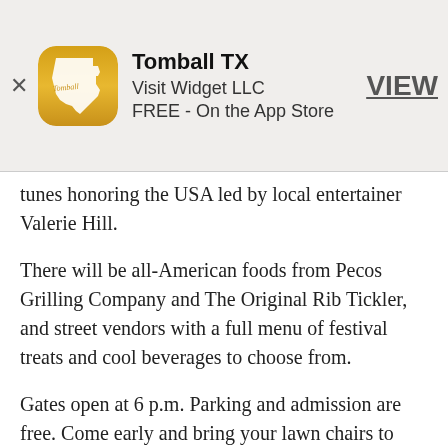[Figure (screenshot): App store banner for Tomball TX app by Visit Widget LLC, FREE on the App Store, with app icon showing Texas outline on gold background, close (x) button, and VIEW link]
tunes honoring the USA led by local entertainer Valerie Hill.
There will be all-American foods from Pecos Grilling Company and The Original Rib Tickler, and street vendors with a full menu of festival treats and cool beverages to choose from.
Gates open at 6 p.m. Parking and admission are free. Come early and bring your lawn chairs to snag the best spot for viewing the fireworks being launched from across Highway 249/Tomball Tollway near the festival site.
Coolers are allowed, but no alcohol or glass containers may be brought into the festival area.
Tomball Fire Department is monitoring the drought conditions closely and will keep the public updated